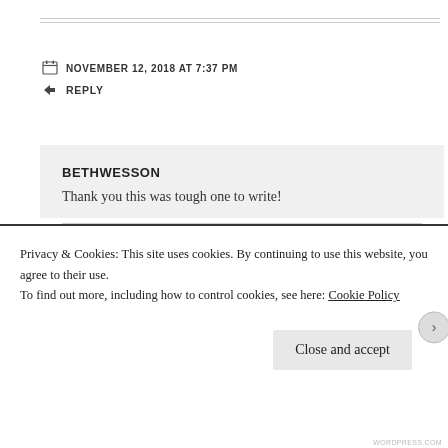NOVEMBER 12, 2018 AT 7:37 PM
REPLY
BETHWESSON
Thank you this was tough one to write!
NOVEMBER 12, 2018 AT 7:39 PM
REPLY
Privacy & Cookies: This site uses cookies. By continuing to use this website, you agree to their use. To find out more, including how to control cookies, see here: Cookie Policy
Close and accept